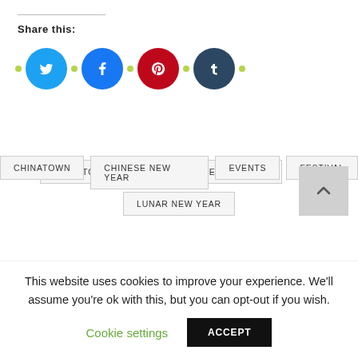Share this:
[Figure (other): Social media share icons: Twitter (blue bird), Facebook (blue F), Pinterest (red P), Tumblr (dark t), separated by small yellow-green dots]
CHINATOWN
CHINESE NEW YEAR
EVENTS
FESTIVAL
LUNAR NEW YEAR
This website uses cookies to improve your experience. We'll assume you're ok with this, but you can opt-out if you wish.
Cookie settings
ACCEPT